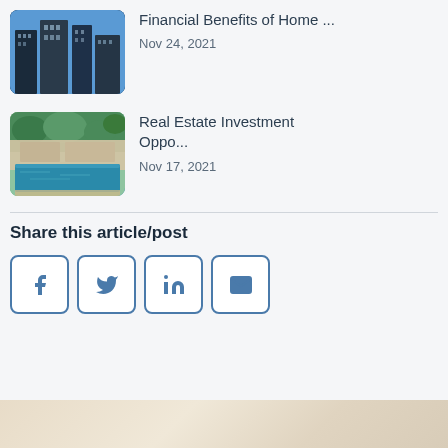[Figure (photo): City skyscrapers viewed from below against blue sky]
Financial Benefits of Home ...
Nov 24, 2021
[Figure (photo): Luxury villa with pool and tropical garden]
Real Estate Investment Oppo...
Nov 17, 2021
Share this article/post
[Figure (infographic): Social share buttons: Facebook, Twitter, LinkedIn, Email]